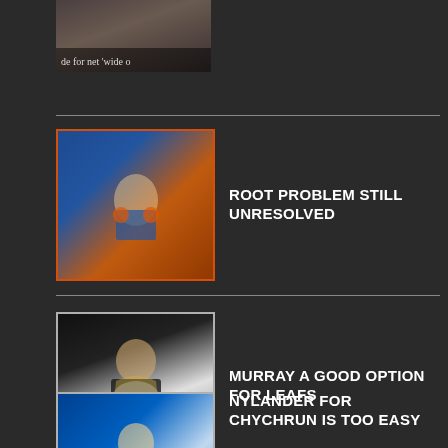[Figure (photo): Partially visible thumbnail at top showing a person with glasses, with caption text 'de for net wide o']
[Figure (photo): Hockey players in Edmonton Oilers orange and blue jerseys]
ROOT PROBLEM STILL UNRESOLVED
[Figure (photo): Hockey goalie in Pittsburgh Penguins black and gold gear]
MURRAY A GOOD OPTION FOR LEAFS
[Figure (photo): Hockey player in Tampa Bay Lightning blue jersey skating]
NYLANDER FOR CHYCHRUN IS TOO EASY